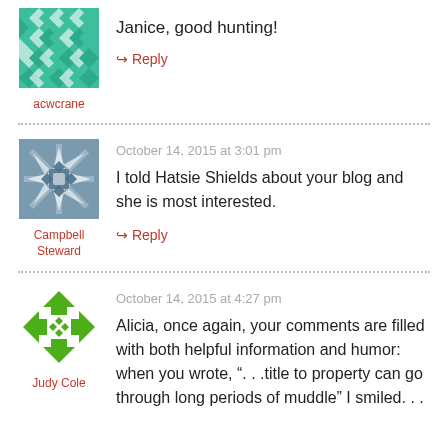[Figure (illustration): Teal/green geometric pattern avatar for acwcrane]
Janice, good hunting!
acwcrane
↳ Reply
[Figure (illustration): Blue-grey geometric star pattern avatar for Campbell Steward]
October 14, 2015 at 3:01 pm
I told Hatsie Shields about your blog and she is most interested.
Campbell Steward
↳ Reply
[Figure (illustration): Green arrow/diamond icon avatar for Judy Cole]
October 14, 2015 at 4:27 pm
Alicia, once again, your comments are filled with both helpful information and humor: when you wrote, ". . .title to property can go through long periods of muddle" I smiled. . .
Judy Cole